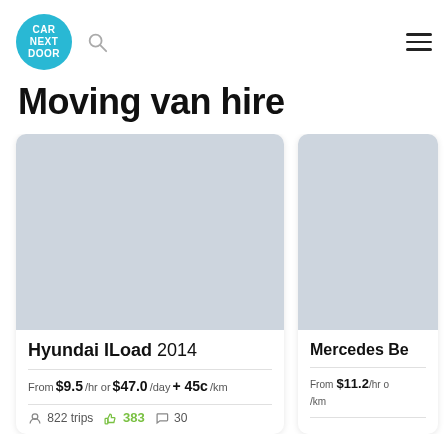[Figure (logo): Car Next Door circular teal logo]
Moving van hire
Hyundai ILoad 2014 — From $9.5 /hr or $47.0 /day + 45c /km — 822 trips, 383 thumbs up, 30 comments
Mercedes Be... — From $11.2 /hr or ... /km